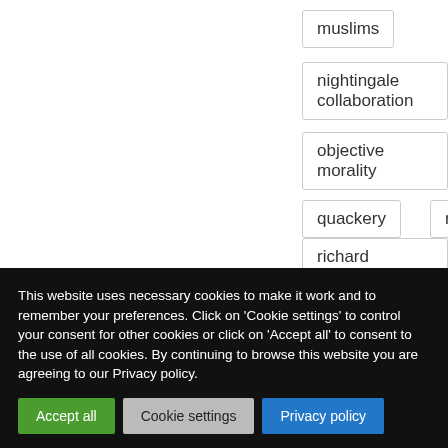muslims
nightingale collaboration
objective morality
quackery
religion
richard dawkins
This website uses necessary cookies to make it work and to remember your preferences. Click on 'Cookie settings' to control your consent for other cookies or click on 'Accept all' to consent to the use of all cookies. By continuing to browse this website you are agreeing to our Privacy policy.
Accept all
Cookie settings
Privacy policy